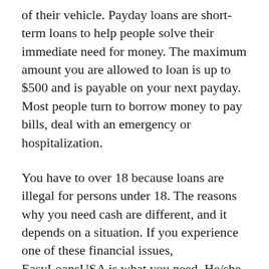of their vehicle. Payday loans are short-term loans to help people solve their immediate need for money. The maximum amount you are allowed to loan is up to $500 and is payable on your next payday. Most people turn to borrow money to pay bills, deal with an emergency or hospitalization.
You have to over 18 because loans are illegal for persons under 18. The reasons why you need cash are different, and it depends on a situation. If you experience one of these financial issues, EasyLoansUSA is what you need. He/she can provide you with helpful information on how to handle your debt. It will be good for you to have extra income. Some lenders consider such clients, but it still can be a reason to refuse. You only need to answer several simple questions. It usually includes contact information, passport details, and information on income and employment. Lenders do not care about your